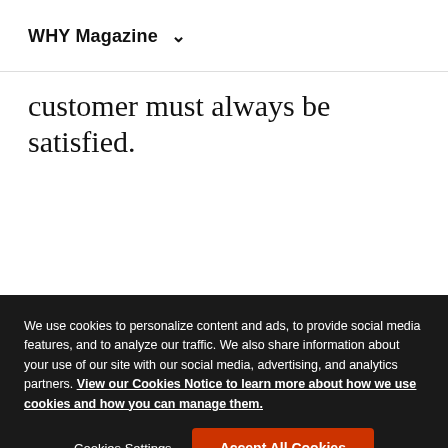WHY Magazine
customer must always be satisfied.
We use cookies to personalize content and ads, to provide social media features, and to analyze our traffic. We also share information about your use of our site with our social media, advertising, and analytics partners. View our Cookies Notice to learn more about how we use cookies and how you can manage them.
Cookies Settings
Accept All Cookies